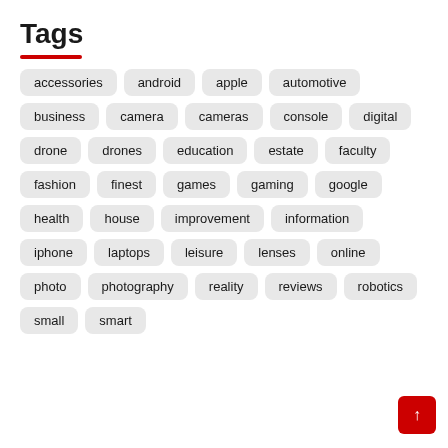Tags
accessories
android
apple
automotive
business
camera
cameras
console
digital
drone
drones
education
estate
faculty
fashion
finest
games
gaming
google
health
house
improvement
information
iphone
laptops
leisure
lenses
online
photo
photography
reality
reviews
robotics
small
smart